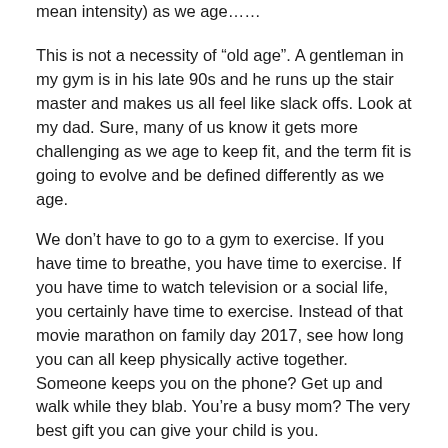mean intensity) as we age……
This is not a necessity of “old age”. A gentleman in my gym is in his late 90s and he runs up the stair master and makes us all feel like slack offs. Look at my dad. Sure, many of us know it gets more challenging as we age to keep fit, and the term fit is going to evolve and be defined differently as we age.
We don’t have to go to a gym to exercise. If you have time to breathe, you have time to exercise. If you have time to watch television or a social life, you certainly have time to exercise. Instead of that movie marathon on family day 2017, see how long you can all keep physically active together.
Someone keeps you on the phone? Get up and walk while they blab. You’re a busy mom? The very best gift you can give your child is you.